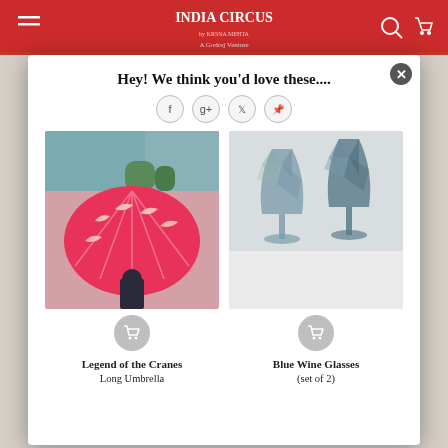[Figure (screenshot): India Circus website header with red banner]
Hey! We think you'd love these....
[Figure (photo): Person holding a pink umbrella with crane print - Legend of the Cranes Long Umbrella]
[Figure (photo): Two faceted blue-grey wine glasses - Blue Wine Glasses (set of 2)]
Legend of the Cranes
Long Umbrella
Blue Wine Glasses
(set of 2)